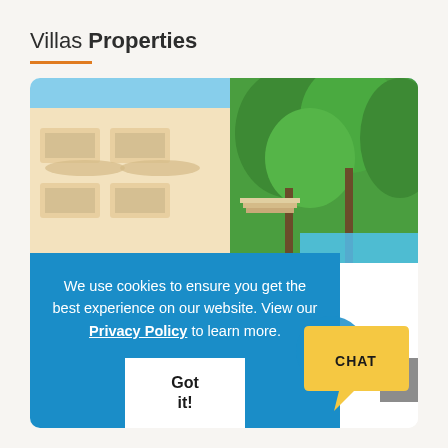Villas Properties
[Figure (photo): Exterior photo of a white luxury villa with balconies and lush green trees under a bright blue sky]
We use cookies to ensure you get the best experience on our website. View our Privacy Policy to learn more.
Got it!
Cabo San Lucas Luxury